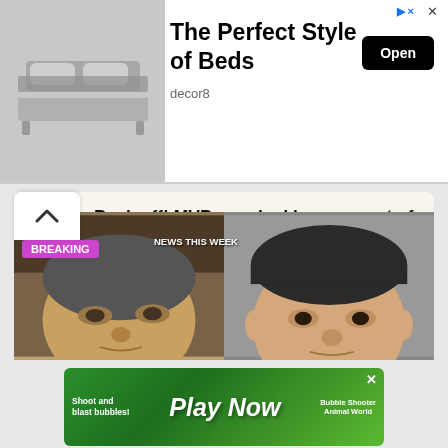[Figure (screenshot): Top advertisement banner for decor8 beds with image of a grey bed, 'The Perfect Style of Beds' heading, 'Open' button, and decor8 source label]
[Figure (screenshot): Navigation chevron-up button on left side of article card]
Back off! MVP spooked by prospect of losing PLDT, Meralco franchises if he pushed through TV-ABS-CBN, Cignal-SkyCable deals
[Figure (photo): Two men's faces side by side: left side shows older Asian man with 'BREAKING' and 'NEWS THIS WEEK' overlaid text, right side shows younger Asian man against grey background]
[Figure (screenshot): Bottom advertisement for a bubble shooter mobile game showing 'Shoot and blast bubbles!', 'Play Now', 'Bubble Shooter Animal World' text on green gradient background]